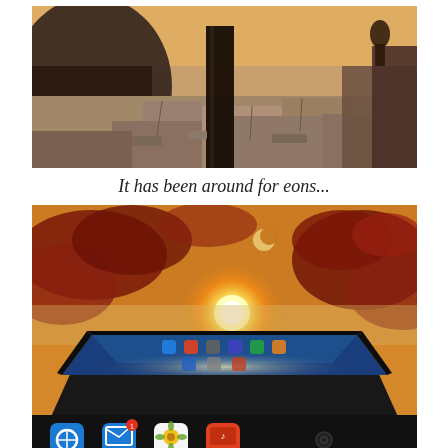[Figure (photo): Sepia-toned photo of ancient rocky ruins with a dark monolithic slab standing upright among weathered stone blocks, with a faint orange sky in the background.]
It has been around for eons...
[Figure (photo): Photo of an iPad tablet device photographed from below against a dramatic sunset sky with red clouds and a crescent moon visible. The sun appears to rise from behind the iPad screen. App icons visible on the home screen and dock.]